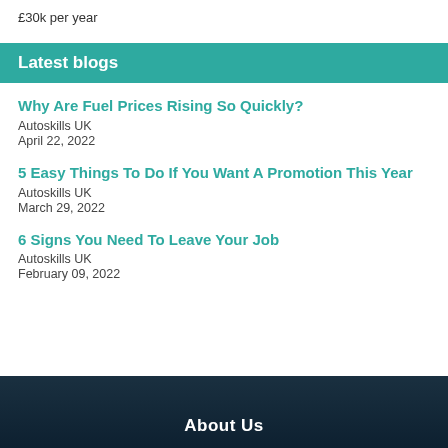£30k per year
Latest blogs
Why Are Fuel Prices Rising So Quickly?
Autoskills UK
April 22, 2022
5 Easy Things To Do If You Want A Promotion This Year
Autoskills UK
March 29, 2022
6 Signs You Need To Leave Your Job
Autoskills UK
February 09, 2022
About Us